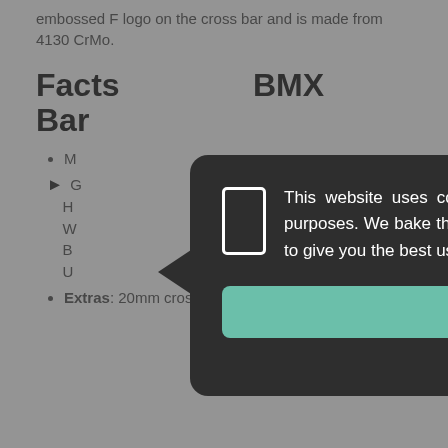embossed F logo on the cross bar and is made from 4130 CrMo.
Facts … BMX Bar
M…
G… H… W… B… U…
Extras: 20mm cross bar features embossed logo
[Figure (screenshot): Cookie consent modal popup with dark background reading: 'This website uses cookies for functional, statistical & remarketing purposes. We bake the cookies as small and anonymous as possible to give you the best user experience.' with a 'THAT'S FINE!' button and 'I'm not sure...' link.]